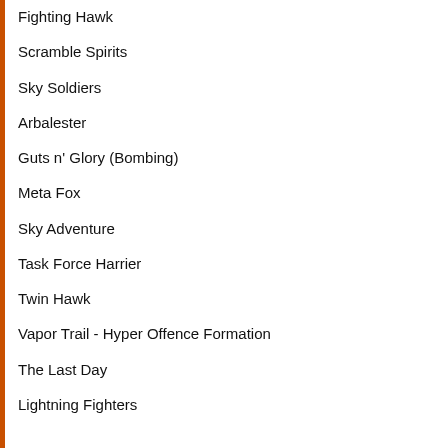Fighting Hawk
Scramble Spirits
Sky Soldiers
Arbalester
Guts n' Glory (Bombing)
Meta Fox
Sky Adventure
Task Force Harrier
Twin Hawk
Vapor Trail - Hyper Offence Formation
The Last Day
Lightning Fighters